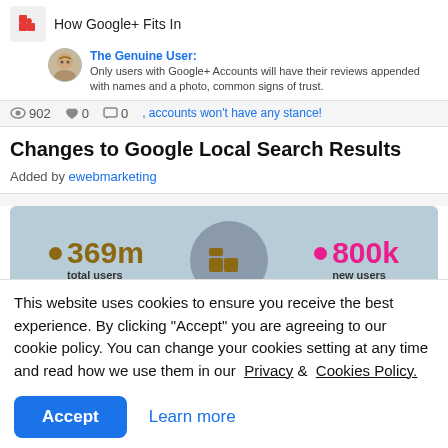[Figure (screenshot): Web page snippet showing 'How Google+ Fits In' with a puzzle icon, genuine user avatar and text, and view/like/comment stats bar with '902 0 0, accounts won't have any stance!']
Changes to Google Local Search Results
Added by ewebmarketing
[Figure (infographic): Infographic strip showing 369m total users (brown dot) and 800k new users (pink dot) with a circle graphic in the middle]
This website uses cookies to ensure you receive the best experience. By clicking "Accept" you are agreeing to our cookie policy. You can change your cookies setting at any time and read how we use them in our  Privacy &  Cookies Policy.